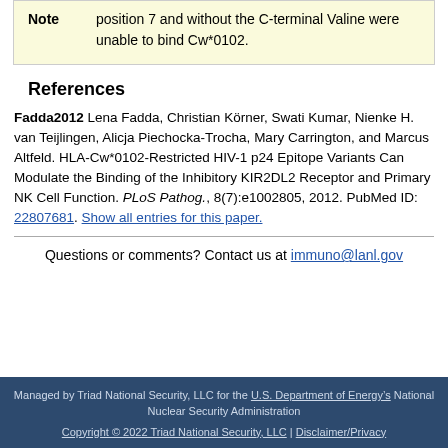| Note |  |
| --- | --- |
| Note | position 7 and without the C-terminal Valine were unable to bind Cw*0102. |
References
Fadda2012 Lena Fadda, Christian Körner, Swati Kumar, Nienke H. van Teijlingen, Alicja Piechocka-Trocha, Mary Carrington, and Marcus Altfeld. HLA-Cw*0102-Restricted HIV-1 p24 Epitope Variants Can Modulate the Binding of the Inhibitory KIR2DL2 Receptor and Primary NK Cell Function. PLoS Pathog., 8(7):e1002805, 2012. PubMed ID: 22807681. Show all entries for this paper.
Questions or comments? Contact us at immuno@lanl.gov
Managed by Triad National Security, LLC for the U.S. Department of Energyâs National Nuclear Security Administration
Copyright Â© 2022 Triad National Security, LLC | Disclaimer/Privacy